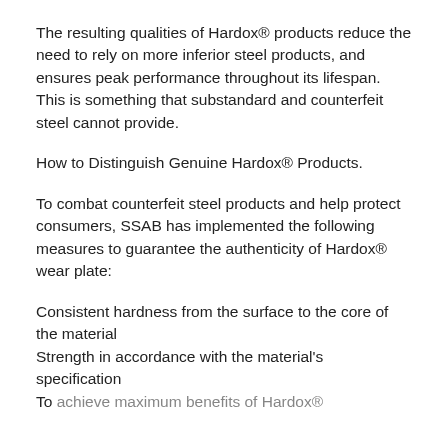The resulting qualities of Hardox® products reduce the need to rely on more inferior steel products, and ensures peak performance throughout its lifespan. This is something that substandard and counterfeit steel cannot provide.
How to Distinguish Genuine Hardox® Products.
To combat counterfeit steel products and help protect consumers, SSAB has implemented the following measures to guarantee the authenticity of Hardox® wear plate:
Consistent hardness from the surface to the core of the material
Strength in accordance with the material's specification
To achieve maximum benefits of Hardox®…